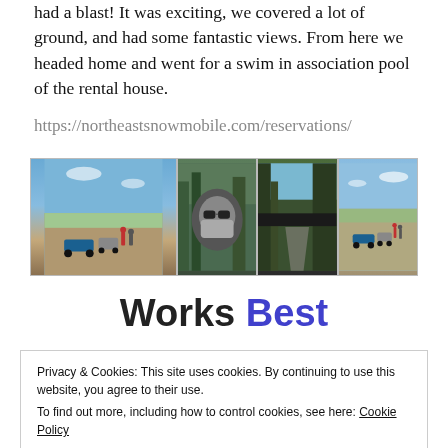had a blast! It was exciting, we covered a lot of ground, and had some fantastic views. From here we headed home and went for a swim in association pool of the rental house.
https://northeastsnowmobile.com/reservations/
[Figure (photo): Four outdoor photos arranged in a strip: wide landscape shot with ATVs on a hill against blue sky, person in helmet/balaclava selfie, forest trail from inside vehicle, another ATV group on hilltop with blue sky]
Works Best
Privacy & Cookies: This site uses cookies. By continuing to use this website, you agree to their use.
To find out more, including how to control cookies, see here: Cookie Policy
Close and accept